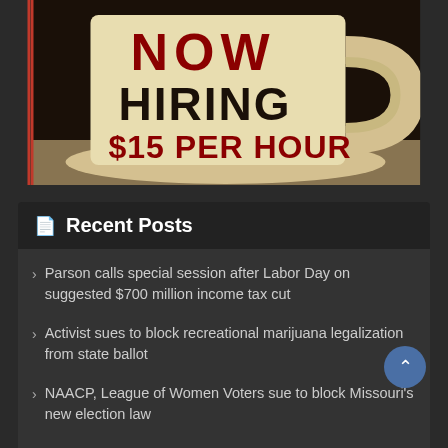[Figure (photo): A white coffee mug on a saucer with text 'NOW HIRING $15 PER HOUR' printed on it in bold dark/red letters, against a dark blurred background.]
Recent Posts
Parson calls special session after Labor Day on suggested $700 million income tax cut
Activist sues to block recreational marijuana legalization from state ballot
NAACP, League of Women Voters sue to block Missouri's new election law